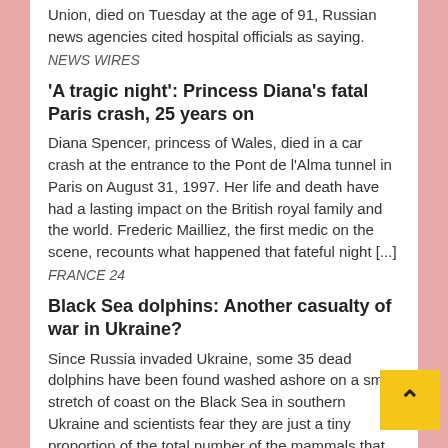Union, died on Tuesday at the age of 91, Russian news agencies cited hospital officials as saying.
NEWS WIRES
'A tragic night': Princess Diana's fatal Paris crash, 25 years on
Diana Spencer, princess of Wales, died in a car crash at the entrance to the Pont de l'Alma tunnel in Paris on August 31, 1997. Her life and death have had a lasting impact on the British royal family and the world. Frederic Mailliez, the first medic on the scene, recounts what happened that fateful night [...]
FRANCE 24
Black Sea dolphins: Another casualty of war in Ukraine?
Since Russia invaded Ukraine, some 35 dead dolphins have been found washed ashore on a small stretch of coast on the Black Sea in southern Ukraine and scientists fear they are just a tiny proportion of the total number of the mammals that have been killed since the outbreak of war. According to Ukrainian [...]
FRANCE24